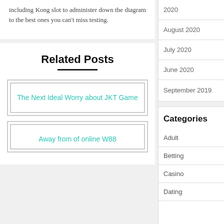including Kong slot to administer down the diagram to the best ones you can't miss testing.
Related Posts
The Next Ideal Worry about JKT Game
Away from of online W88
2020
August 2020
July 2020
June 2020
September 2019
Categories
Adult
Betting
Casino
Dating